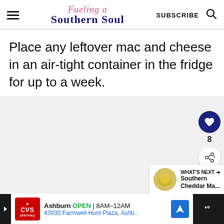Fueling a Southern Soul — SUBSCRIBE
Place any leftover mac and cheese in an air-tight container in the fridge for up to a week.
[Figure (screenshot): Empty image carousel area with dot navigation and sidebar action buttons (heart/like count 8/share), and a 'WHAT'S NEXT' panel with thumbnail for Southern Cheddar Ma...]
CVS Pharmacy ad — Ashburn OPEN 8AM–12AM 43930 Farmwell Hunt Plaza, Ashb...